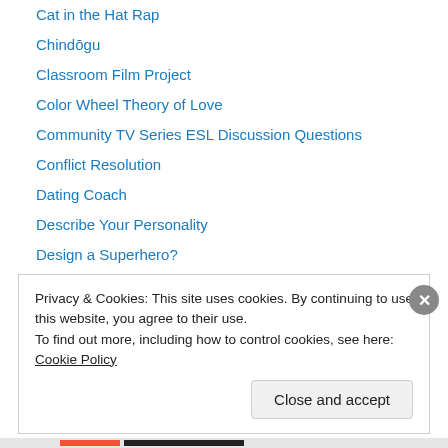Cat in the Hat Rap
Chindōgu
Classroom Film Project
Color Wheel Theory of Love
Community TV Series ESL Discussion Questions
Conflict Resolution
Dating Coach
Describe Your Personality
Design a Superhero?
Design an Alien
Difficult People
Discovery Channel: Building the Future
Disney Princes Description Activity
Privacy & Cookies: This site uses cookies. By continuing to use this website, you agree to their use.
To find out more, including how to control cookies, see here: Cookie Policy